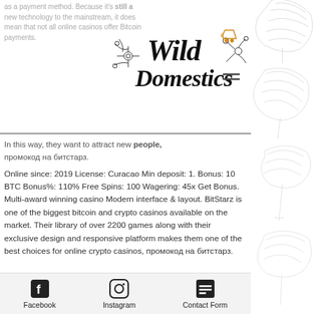as a payment method. Because it's still a new technology to the mainstream, it does mean that not all online casinos offer Bitcoin payments.
[Figure (logo): Wild Domestics logo with floral/botanical illustration in black and white script font]
In this way, they want to attract new people, промокод на битстарз.
Online since: 2019 License: Curacao Min deposit: 1. Bonus: 10 BTC Bonus%: 110% Free Spins: 100 Wagering: 45x Get Bonus. Multi-award winning casino Modern interface & layout. BitStarz is one of the biggest bitcoin and crypto casinos available on the market. Their library of over 2200 games along with their exclusive design and responsive platform makes them one of the best choices for online crypto casinos, промокод на битстарз.
Bitcoin casino bitstarz
Facebook  Instagram  Contact Form